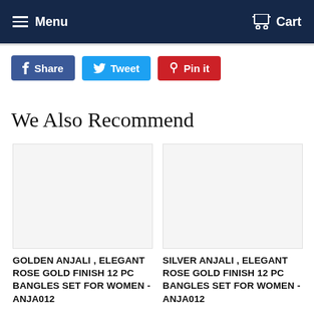Menu  Cart
Share  Tweet  Pin it
We Also Recommend
GOLDEN ANJALI , ELEGANT ROSE GOLD FINISH 12 PC BANGLES SET FOR WOMEN - ANJA012
SILVER ANJALI , ELEGANT ROSE GOLD FINISH 12 PC BANGLES SET FOR WOMEN - ANJA012